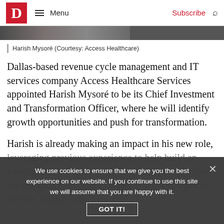D Magazine — Menu | Subscribe
[Figure (photo): Partial photograph of person, cropped to a narrow strip at top of page]
Harish Mysoré (Courtesy: Access Healthcare)
Dallas-based revenue cycle management and IT services company Access Healthcare Services appointed Harish Mysoré to be its Chief Investment and Transformation Officer, where he will identify growth opportunities and push for transformation.
Harish is already making an impact in his new role, leveraging previous experience to help build an intelligence platform for healthcare revenue management cycle. Prior to Access, Harish helo...
We use cookies to ensure that we give you the best experience on our website. If you continue to use this site we will assume that you are happy with it.